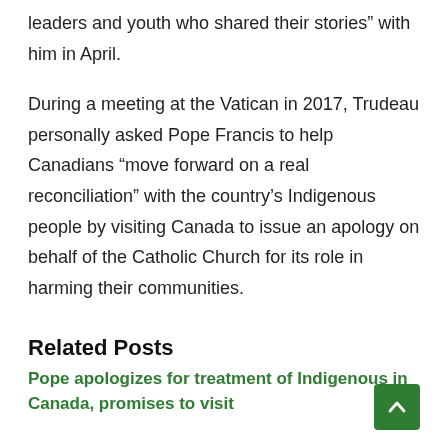leaders and youth who shared their stories” with him in April.
During a meeting at the Vatican in 2017, Trudeau personally asked Pope Francis to help Canadians “move forward on a real reconciliation” with the country’s Indigenous people by visiting Canada to issue an apology on behalf of the Catholic Church for its role in harming their communities.
Related Posts
Pope apologizes for treatment of Indigenous in Canada, promises to visit